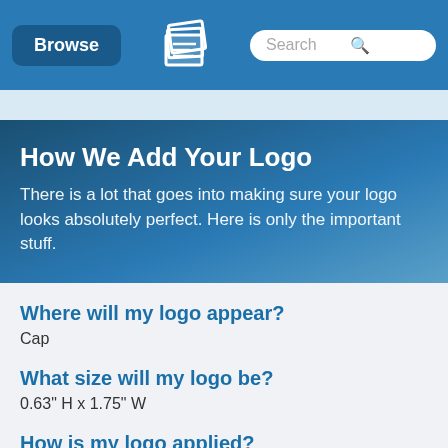[Figure (screenshot): Navigation bar with Browse button, logo icon, and Search bar]
How We Add Your Logo
There is a lot that goes into making sure your logo looks absolutely perfect. Here is only the important stuff.
Where will my logo appear?
Cap
What size will my logo be?
0.63" H x 1.75" W
How is my logo applied?
Screen Print